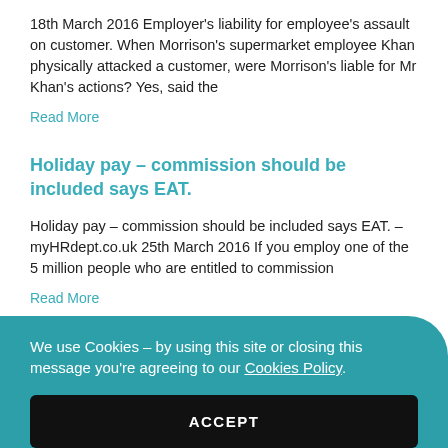18th March 2016 Employer's liability for employee's assault on customer. When Morrison's supermarket employee Khan physically attacked a customer, were Morrison's liable for Mr Khan's actions? Yes, said the
Read More
Holiday pay – commission should be included says EAT.
Holiday pay – commission should be included says EAT. – myHRdept.co.uk 25th March 2016 If you employ one of the 5 million people who are entitled to commission
Read More
We use Cookies – by using this site or closing this message you're agreeing to our Cookies Policy.
ACCEPT